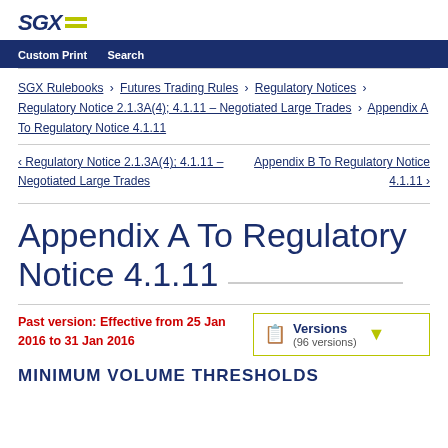SGX
Custom Print  Search
SGX Rulebooks > Futures Trading Rules > Regulatory Notices > Regulatory Notice 2.1.3A(4); 4.1.11 – Negotiated Large Trades > Appendix A To Regulatory Notice 4.1.11
‹ Regulatory Notice 2.1.3A(4); 4.1.11 – Negotiated Large Trades    Appendix B To Regulatory Notice 4.1.11 ›
Appendix A To Regulatory Notice 4.1.11
Past version: Effective from 25 Jan 2016 to 31 Jan 2016
Versions (96 versions)
MINIMUM VOLUME THRESHOLDS